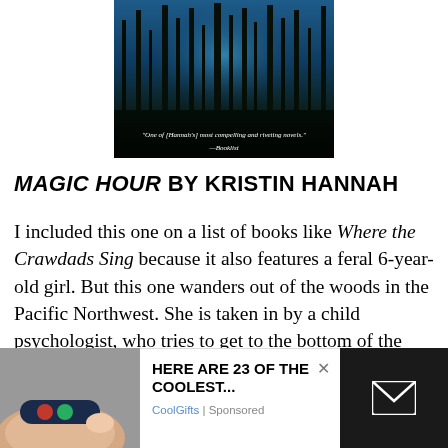[Figure (illustration): Book cover for Magic Hour by Kristin Hannah showing a dark forest with blue-lit trees and a quote from Booklist reading 'One of [Hannah's] most compelling and riveting novels.' —Booklist]
MAGIC HOUR BY KRISTIN HANNAH
I included this one on a list of books like Where the Crawdads Sing because it also features a feral 6-year-old girl. But this one wanders out of the woods in the Pacific Northwest. She is taken in by a child psychologist, who tries to get to the bottom of the girl's past.
[Figure (photo): Advertisement banner at bottom of page showing a smart ring device on a finger alongside ad text 'HERE ARE 23 OF THE COOLEST...' from CoolGifts (Sponsored), with email icon on dark background]